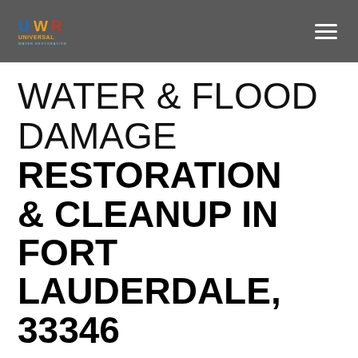Universal Water Restoration — navigation header with logo and hamburger menu
WATER & FLOOD DAMAGE RESTORATION & CLEANUP IN FORT LAUDERDALE, 33346